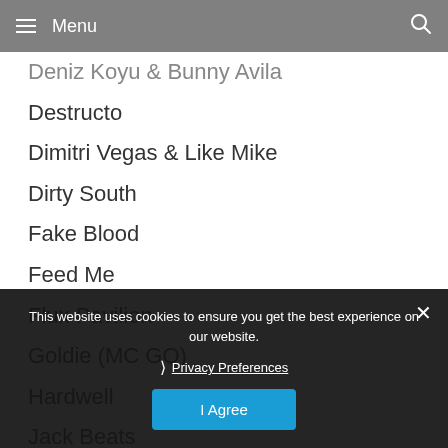Menu
Deniz Koyu & Bunny Avila
Destructo
Dimitri Vegas & Like Mike
Dirty South
Fake Blood
Feed Me
Flux Pavilion
Goldie (MC GQ)
Hardwell
Jack Beats
Jakwobs
Jaguar Skills
Ken Mac
Madeon
Mat Zo
MC GQ
Mistajam
This website uses cookies to ensure you get the best experience on our website.
Privacy Preferences
I Agree